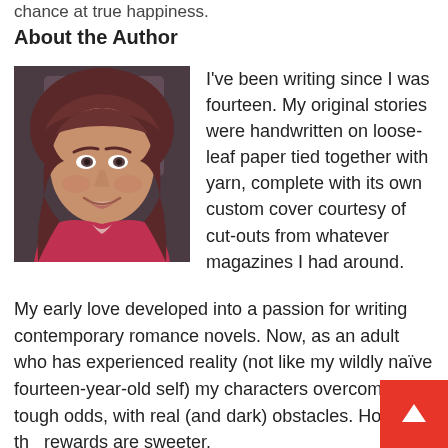chance at true happiness.
About the Author
[Figure (photo): Author photo: woman with reddish-brown hair and bangs, smiling, wearing a red/pink top]
I've been writing since I was fourteen. My original stories were handwritten on loose-leaf paper tied together with yarn, complete with its own custom cover courtesy of cut-outs from whatever magazines I had around.
My early love developed into a passion for writing contemporary romance novels. Now, as an adult who has experienced reality (not like my wildly naïve fourteen-year-old self) my characters overcome tough odds, with real (and dark) obstacles. However, the rewards are sweeter.